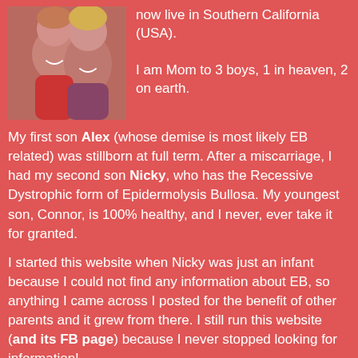[Figure (photo): Photo of two people, a child and an adult woman, smiling together]
now live in Southern California (USA).
I am Mom to 3 boys, 1 in heaven, 2 on earth.
My first son Alex (whose demise is most likely EB related) was stillborn at full term. After a miscarriage, I had my second son Nicky, who has the Recessive Dystrophic form of Epidermolysis Bullosa. My youngest son, Connor, is 100% healthy, and I never, ever take it for granted.
I started this website when Nicky was just an infant because I could not find any information about EB, so anything I came across I posted for the benefit of other parents and it grew from there. I still run this website (and its FB page) because I never stopped looking for information!
For more about me, you may visit my personal blog.
Thank You for visiting!